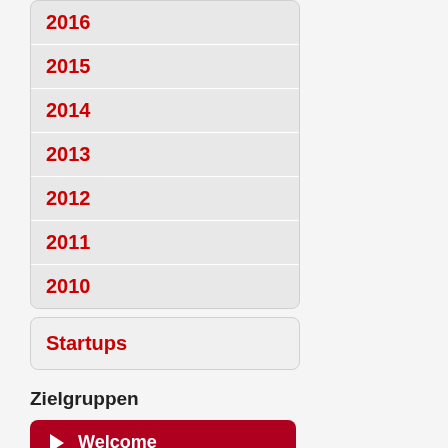2016
2015
2014
2013
2012
2011
2010
Startups
Zielgruppen
Welcome